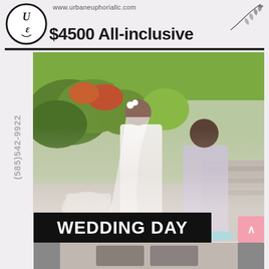[Figure (logo): Circular logo with stylized 'UE' monogram in black outline circle]
www.urbaneuphoriallc.com
[Figure (illustration): Decorative leaf/branch botanical illustration in top right corner]
$4500 All-inclusive
(585)542-9922
[Figure (photo): Wedding day photo showing a bride in a white gown with two assistants helping adjust her dress and veil outdoors near greenery]
WEDDING DAY